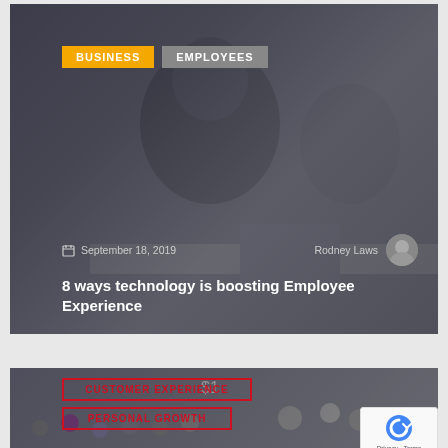[Figure (photo): Blog post card with dark overlay showing a man working at a desk. Tags: BUSINESS, EMPLOYEES. Date: September 18, 2019. Author: Rodney Laws with avatar. Title: 8 ways technology is boosting Employee Experience]
[Figure (photo): Second blog post card with dark overlay showing a crowd/conference scene. Tags: CUSTOMER EXPERIENCE, PERSONAL GROWTH. Partially visible card at bottom of page with reCAPTCHA badge overlay.]